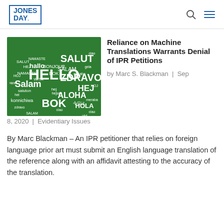Jones Day
[Figure (illustration): Green chalkboard with 'HELLO' and greetings in multiple languages as a word cloud]
Reliance on Machine Translations Warrants Denial of IPR Petitions
by Marc S. Blackman | Sep 8, 2020 | Evidentiary Issues
By Marc Blackman – An IPR petitioner that relies on foreign language prior art must submit an English language translation of the reference along with an affidavit attesting to the accuracy of the translation.